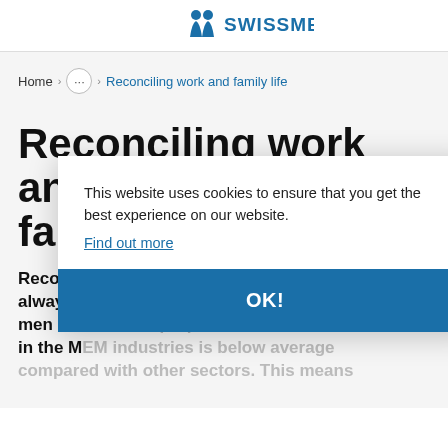SWISSMEM
Home › ... › Reconciling work and family life
Reconciling work and family life
Reconciling work and family life is not always easy. And that goes for women and men alike. A 37% proportion of women in the MEM industries is below average compared with other sectors. This means
This website uses cookies to ensure that you get the best experience on our website.
Find out more
OK!